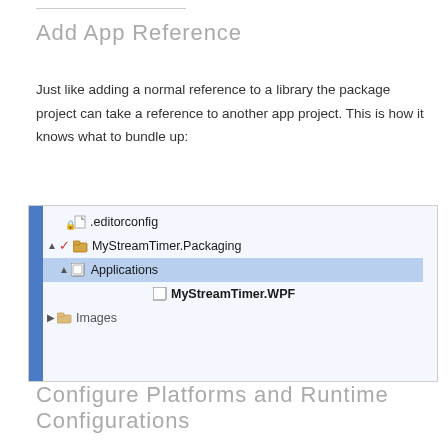Add App Reference
Just like adding a normal reference to a library the package project can take a reference to another app project. This is how it knows what to bundle up:
[Figure (screenshot): Visual Studio Solution Explorer screenshot showing a tree with .editorconfig file, MyStreamTimer.Packaging project expanded with Applications folder selected (highlighted in blue), containing MyStreamTimer.WPF item in bold, and Images folder partially visible below.]
Configure Platforms and Runtime Configurations